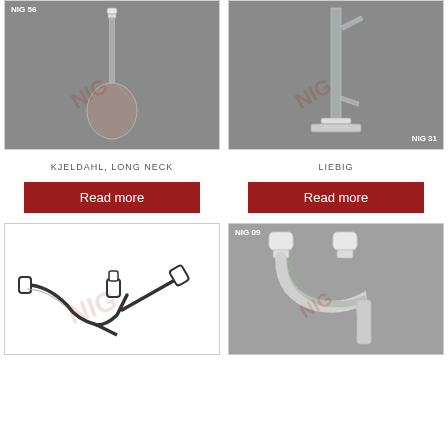[Figure (photo): Kjeldahl long neck flask photo on grey background, labeled NIG 56]
[Figure (photo): Liebig condenser photo on grey background, labeled NIG 31]
KJELDAHL, LONG NECK
LIEBIG
Read more
Read more
[Figure (illustration): Three-way bent tube adapter illustration (line drawing) with watermark]
[Figure (photo): Two-neck bent adapter photo on grey background, labeled NIG 09]